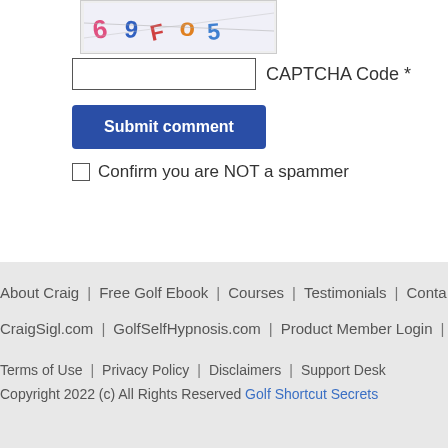[Figure (other): CAPTCHA image showing distorted letters/numbers]
CAPTCHA Code *
Submit comment
Confirm you are NOT a spammer
About Craig | Free Golf Ebook | Courses | Testimonials | Conta... | CraigSigl.com | GolfSelfHypnosis.com | Product Member Login | Terms of Use | Privacy Policy | Disclaimers | Support Desk | Copyright 2022 (c) All Rights Reserved Golf Shortcut Secrets